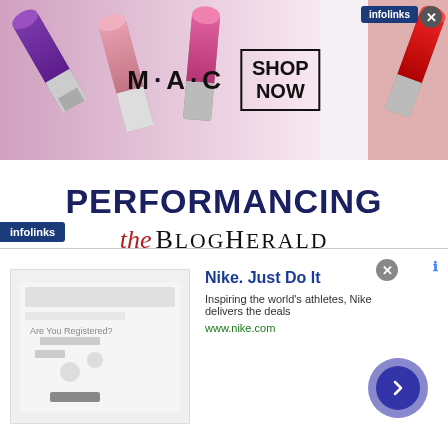[Figure (screenshot): MAC cosmetics advertisement banner with lipsticks on left, MAC logo and SHOP NOW box in center, red lipstick on right, infolinks badge top right, close button]
PERFORMANCING
[Figure (logo): The BlogHerald logo - 'the' in red italic serif font, 'BlogHerald' in black serif font]
[Figure (screenshot): infolinks badge bottom left]
[Figure (screenshot): Nike advertisement - Nike Just Do It, Inspiring the world's athletes, Nike delivers the deals, www.nike.com, with navigation arrow button, close button and ad indicator]